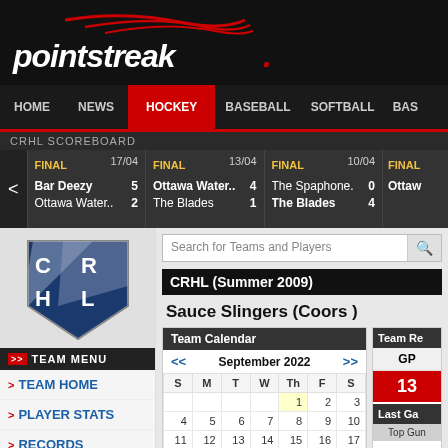[Figure (logo): Pointstreak logo with italic white text and red swoosh on black background]
HOME | NEWS | HOCKEY | BASEBALL | SOFTBALL | BAS
CRHL SCOREBOARD
FINAL 17/04 Bar Deezy 5 Ottawa Water.. 2
FINAL 13/04 Ottawa Water.. 4 The Blades 1
FINAL 10/04 The Spaphone. 0 The Blades 4
FINAL Ottawa
[Figure (logo): CRHL shield logo with blue and grey diagonal stripes and letters C R H L]
TEAM MENU
TEAM HOME
PLAYER STATS
RECORDS
SCHEDULE
Search for Teams and Players
CRHL (Summer 2009)
Sauce Slingers (Coors )
Team Calendar
| S | M | T | W | Th | F | S |
| --- | --- | --- | --- | --- | --- | --- |
|  |  |  |  | 1 | 2 | 3 |
| 4 | 5 | 6 | 7 | 8 | 9 | 10 |
| 11 | 12 | 13 | 14 | 15 | 16 | 17 |
Team Re
GP 13
Last Ga
Top Guns